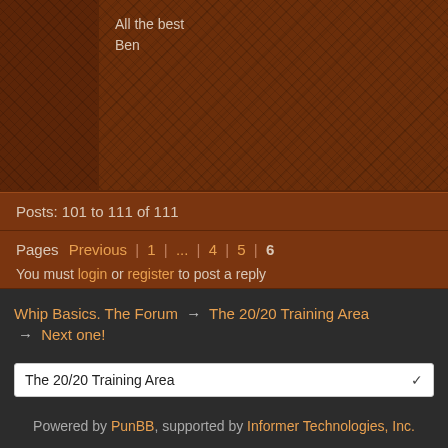All the best
Ben
Posts: 101 to 111 of 111
Pages  Previous  |  1  |  ...  |  4  |  5  |  6
You must login or register to post a reply
Whip Basics. The Forum → The 20/20 Training Area → Next one!
The 20/20 Training Area
Powered by PunBB, supported by Informer Technologies, Inc.